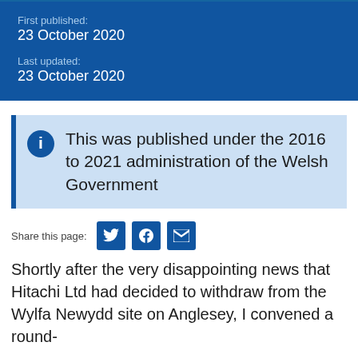First published: 23 October 2020
Last updated: 23 October 2020
This was published under the 2016 to 2021 administration of the Welsh Government
Share this page:
Shortly after the very disappointing news that Hitachi Ltd had decided to withdraw from the Wylfa Newydd site on Anglesey, I convened a round-